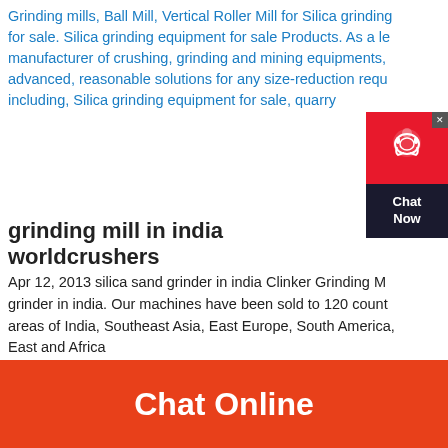Grinding mills, Ball Mill, Vertical Roller Mill for Silica grinding for sale. Silica grinding equipment for sale Products. As a leading manufacturer of crushing, grinding and mining equipments, we offer advanced, reasonable solutions for any size-reduction requirements including, Silica grinding equipment for sale, quarry
[Figure (other): Chat Now widget with red circle containing a headset icon and dark bottom panel saying Chat Now]
grinding mill in india worldcrushers
Apr 12, 2013 silica sand grinder in india Clinker Grinding Mill, silica sand grinder in india. Our machines have been sold to 120 countries and areas of India, Southeast Asia, East Europe, South America, Middle East and Africa
Chat Online